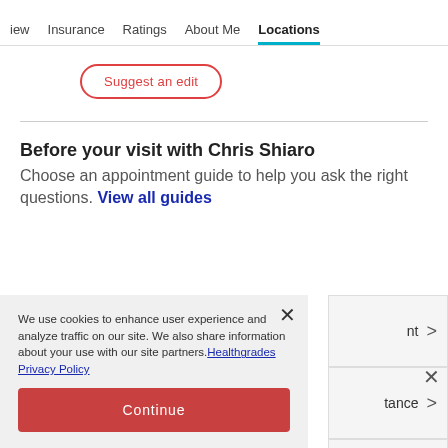iew  Insurance  Ratings  About Me  Locations
Suggest an edit
Before your visit with Chris Shiaro
Choose an appointment guide to help you ask the right questions. View all guides
We use cookies to enhance user experience and analyze traffic on our site. We also share information about your use with our site partners. Healthgrades Privacy Policy
Continue
Access my Privacy Preferences